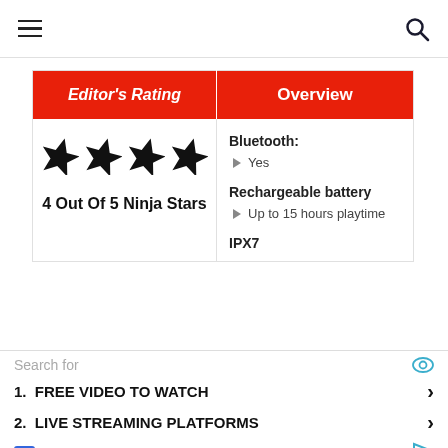≡  [search icon]
| Editor's Rating | Overview |
| --- | --- |
| 4 Out Of 5 Ninja Stars | Bluetooth:
▶ Yes
Rechargeable battery
▶ Up to 15 hours playtime
IPX7 |
Search for
1. FREE VIDEO TO WATCH ›
2. LIVE STREAMING PLATFORMS ›
Ad | Business Focus